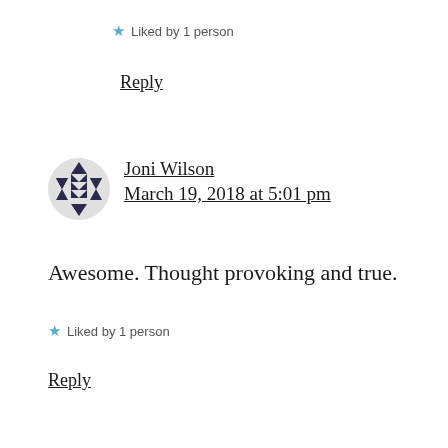★ Liked by 1 person
Reply
Joni Wilson
March 19, 2018 at 5:01 pm
Awesome. Thought provoking and true.
★ Liked by 1 person
Reply